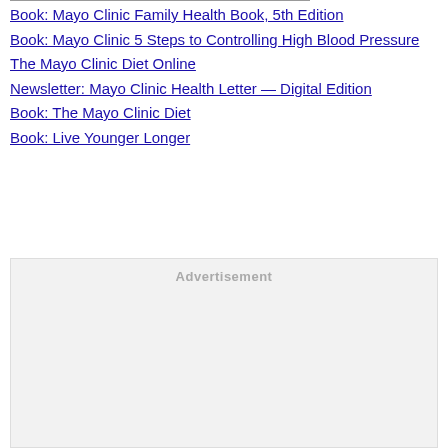Book: Mayo Clinic Family Health Book, 5th Edition
Book: Mayo Clinic 5 Steps to Controlling High Blood Pressure
The Mayo Clinic Diet Online
Newsletter: Mayo Clinic Health Letter — Digital Edition
Book: The Mayo Clinic Diet
Book: Live Younger Longer
[Figure (other): Advertisement placeholder box with 'Advertisement' label in gray text]